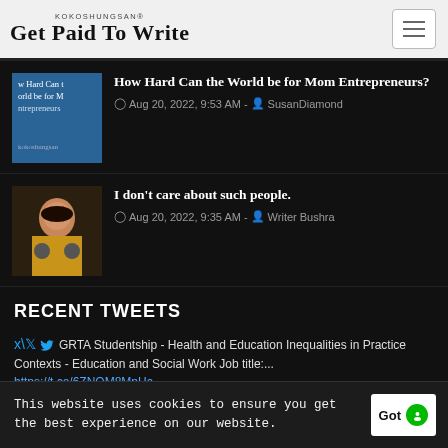KOKOSHUNGSAN® Get Paid To Write
How Hard Can the World be for Mom Entrepreneurs?
Aug 20, 2022, 9:53 AM - SusanDiamond
I don't care about such people.
Aug 20, 2022, 9:35 AM - Writer Bushra
RECENT TWEETS
GRTA Studentship - Health and Education Inequalities in Practice Contexts - Education and Social Work Job title:... https://t.co/6ZNOM8MpHc
Aug 22, 2022, 2:57 AM
This website uses cookies to ensure you get the best experience on our website.